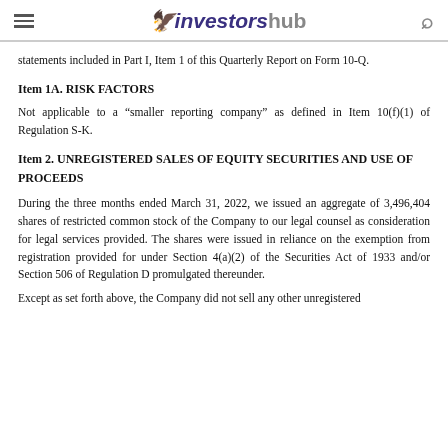investorshub
statements included in Part I, Item 1 of this Quarterly Report on Form 10-Q.
Item 1A. RISK FACTORS
Not applicable to a “smaller reporting company” as defined in Item 10(f)(1) of Regulation S-K.
Item 2. UNREGISTERED SALES OF EQUITY SECURITIES AND USE OF PROCEEDS
During the three months ended March 31, 2022, we issued an aggregate of 3,496,404 shares of restricted common stock of the Company to our legal counsel as consideration for legal services provided. The shares were issued in reliance on the exemption from registration provided for under Section 4(a)(2) of the Securities Act of 1933 and/or Section 506 of Regulation D promulgated thereunder.
Except as set forth above, the Company did not sell any other unregistered securities during the period covered by this report that were not previously reported.